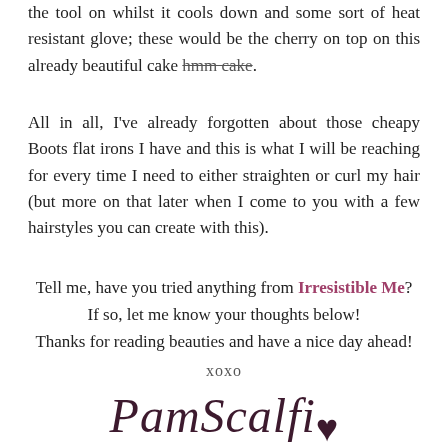the tool on whilst it cools down and some sort of heat resistant glove; these would be the cherry on top on this already beautiful cake hmm cake.
All in all, I've already forgotten about those cheapy Boots flat irons I have and this is what I will be reaching for every time I need to either straighten or curl my hair (but more on that later when I come to you with a few hairstyles you can create with this).
Tell me, have you tried anything from Irresistible Me? If so, let me know your thoughts below! Thanks for reading beauties and have a nice day ahead!
xoxo
[Figure (illustration): Cursive signature reading 'PamScalfi' with a heart symbol at the end, in dark maroon/purple color]